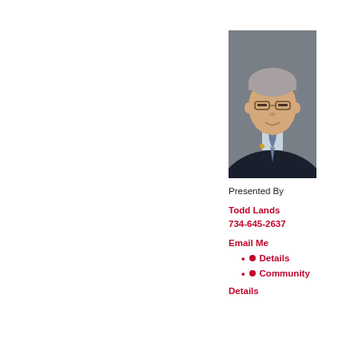[Figure (photo): Headshot of Todd Lands, a middle-aged man with grey hair, glasses, wearing a dark suit with blue tie, against a grey background]
Presented By
Todd Lands
734-645-2637
Email Me
Details
Community
Details